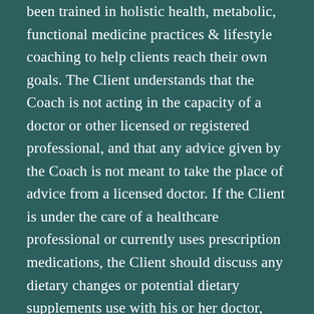been trained in holistic health, metabolic, functional medicine practices & lifestyle coaching to help clients reach their own goals. The Client understands that the Coach is not acting in the capacity of a doctor or other licensed or registered professional, and that any advice given by the Coach is not meant to take the place of advice from a licensed doctor. If the Client is under the care of a healthcare professional or currently uses prescription medications, the Client should discuss any dietary changes or potential dietary supplements use with his or her doctor, and should not discontinue any prescription medications without first consulting his or her doctor. The Client has chosen to work with the Coach and understands that the information received should not be seen as medical or